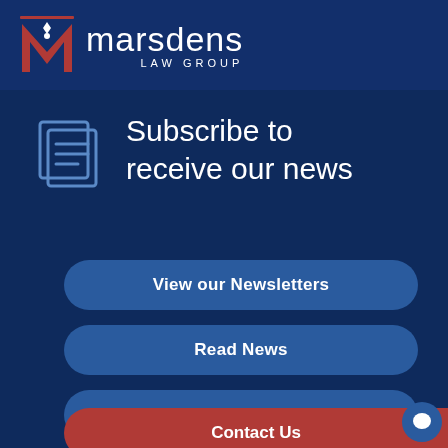[Figure (logo): Marsdens Law Group logo with red M icon and white text]
Subscribe to receive our news
View our Newsletters
Read News
Upcoming Events
Contact Us